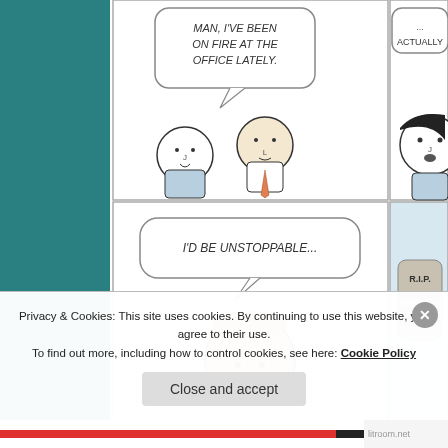[Figure (illustration): Webcomic strip showing cartoon characters. Top row: left panel shows two characters, one saying 'MAN, I'VE BEEN ON FIRE AT THE OFFICE LATELY.' Right panel shows a third character reacting with 'ACTUALLY'. Bottom row: left panel shows one character with speech bubble 'I'D BE UNSTOPPABLE...' Right panel shows a gravestone reading 'R.I.P. OFFICE GUY DEDICATED TO HIS WORK']
Privacy & Cookies: This site uses cookies. By continuing to use this website, you agree to their use.
To find out more, including how to control cookies, see here: Cookie Policy